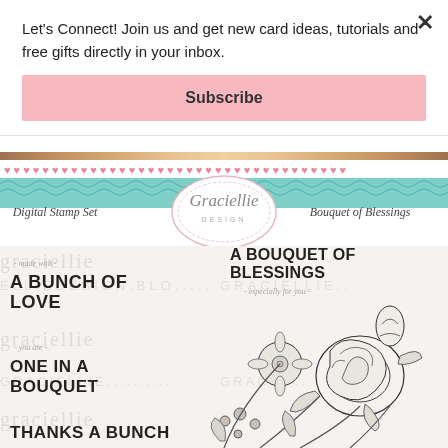Let's Connect! Join us and get new card ideas, tutorials and free gifts directly in your inbox.
Subscribe
[Figure (illustration): Decorative banner with pink hearts row, teal wave row, Graciellie Design oval logo, 'Digital Stamp Set' label on left and 'Bouquet of Blessings' label on right]
[Figure (illustration): Digital stamp set product sheet showing a detailed black and white floral bouquet illustration with roses and other flowers, overlaid with sentiment text phrases: '- made with - A BUNCH OF LOVE', 'A BOUQUET OF BLESSINGS - especially for you -', '- you are - ONE IN A BOUQUET', 'THANKS A BUNCH', and watermark text 'graciellie design' repeated. Background watermark text reads 'GRACIELLIE DESIGN' and 'ELLIEDESIGN.BLO...']
- made with - A BUNCH OF LOVE
A BOUQUET OF BLESSINGS - especially for you -
- you are - ONE IN A BOUQUET
THANKS A BUNCH